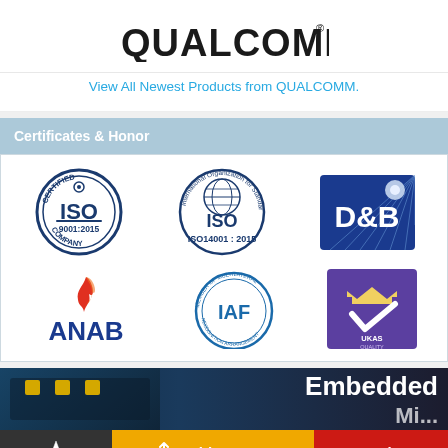[Figure (logo): QUALCOMM logo in dark text]
View All Newest Products from QUALCOMM.
Certificates & Honor
[Figure (illustration): Six certification logos: ISO 9001:2015 Certified Company, ISO 14001:2015, D&B, ANAB, IAF Member of Multilateral Recognition Arrangement, UKAS Quality Management]
[Figure (photo): Embedded electronics banner image with text 'Embedded Mi...']
Add To BOM
Inquiry